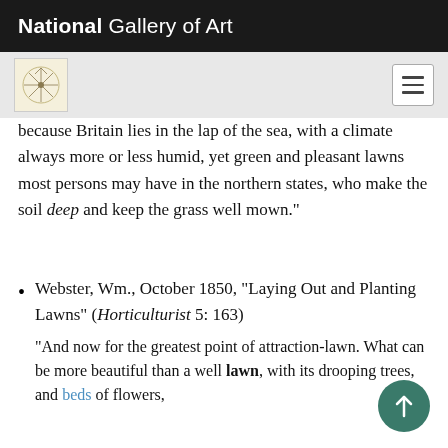National Gallery of Art
because Britain lies in the lap of the sea, with a climate always more or less humid, yet green and pleasant lawns most persons may have in the northern states, who make the soil deep and keep the grass well mown.”
Webster, Wm., October 1850, “Laying Out and Planting Lawns” (Horticulturist 5: 163)
“And now for the greatest point of attraction—lawn. What can be more beautiful than a well lawn, with its drooping trees, and beds of flowers,